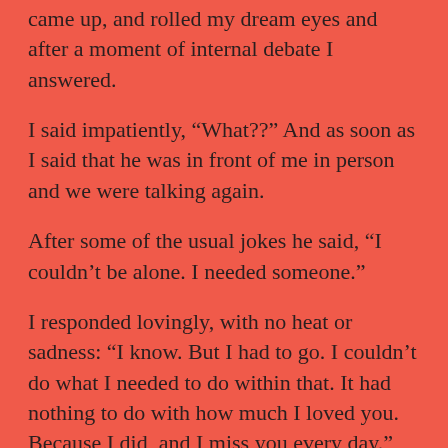came up, and rolled my dream eyes and after a moment of internal debate I answered.
I said impatiently, “What??” And as soon as I said that he was in front of me in person and we were talking again.
After some of the usual jokes he said, “I couldn’t be alone. I needed someone.”
I responded lovingly, with no heat or sadness: “I know. But I had to go. I couldn’t do what I needed to do within that. It had nothing to do with how much I loved you. Because I did, and I miss you every day.” He smiled and nodded.
I woke up right after that, fully awake and